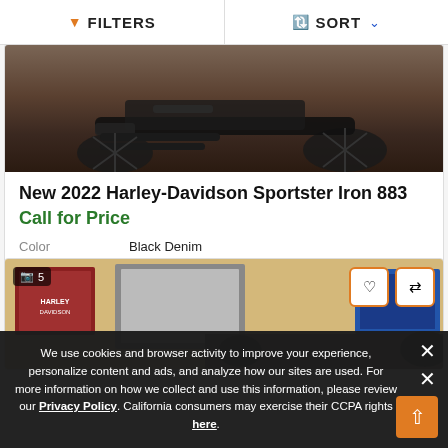FILTERS | SORT
[Figure (photo): Partial view of a dark Harley-Davidson motorcycle on a wooden floor background]
New 2022 Harley-Davidson Sportster Iron 883
Call for Price
| Color | Black Denim |
| --- | --- |
[Figure (photo): Partial view of a second motorcycle listing with framed pictures in background. Badge shows 5 photos, with heart and compare action buttons.]
We use cookies and browser activity to improve your experience, personalize content and ads, and analyze how our sites are used. For more information on how we collect and use this information, please review our Privacy Policy. California consumers may exercise their CCPA rights here.